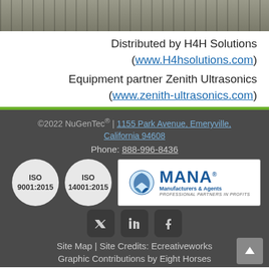[Figure (photo): Top banner photo showing industrial/laboratory equipment]
Distributed by H4H Solutions (www.H4hsolutions.com)
Equipment partner Zenith Ultrasonics (www.zenith-ultrasonics.com)
©2022 NuGenTec® | 1155 Park Avenue, Emeryville, California 94608
Phone: 888-996-8436
[Figure (logo): ISO 9001:2015 certification circle logo]
[Figure (logo): ISO 14001:2015 certification circle logo]
[Figure (logo): MANA Manufacturers & Agents - Professional Partners in Profits logo]
[Figure (logo): Social media icons: Twitter, LinkedIn, Facebook]
Site Map | Site Credits: Ecreativeworks
Graphic Contributions by Eight Horses